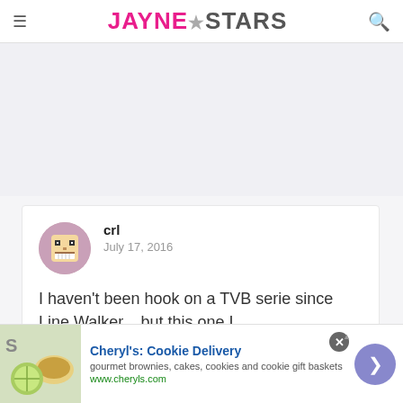JayneStars
[Figure (other): Gray advertisement placeholder area]
crl
July 17, 2016
I haven't been hook on a TVB serie since Line Walker... but this one I
[Figure (other): Bottom advertisement banner: Cheryl's Cookie Delivery - gourmet brownies, cakes, cookies and cookie gift baskets, www.cheryls.com]